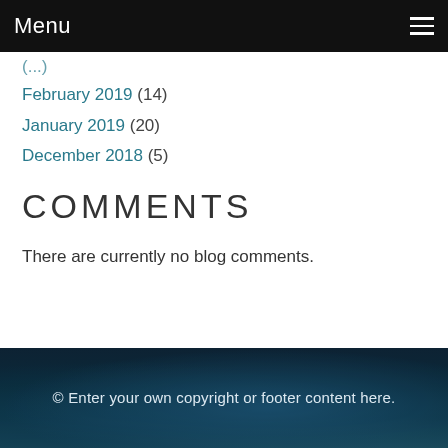Menu
February 2019 (14)
January 2019 (20)
December 2018 (5)
COMMENTS
There are currently no blog comments.
© Enter your own copyright or footer content here.